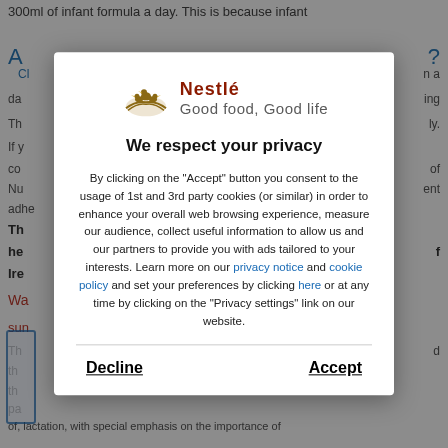300ml of infant formula a day. This is because infant
[Figure (screenshot): Nestlé privacy consent modal dialog with logo, title 'We respect your privacy', body text about cookie usage, links to privacy notice, cookie policy, and here, with Decline and Accept buttons.]
of, lactation, with special emphasis on the importance of